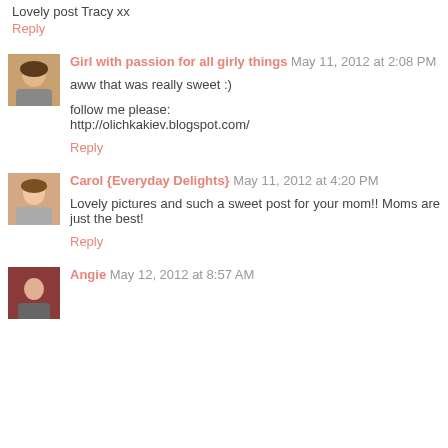Lovely post Tracy xx
Reply
Girl with passion for all girly things  May 11, 2012 at 2:08 PM
aww that was really sweet :)
follow me please:
http://olichkakiev.blogspot.com/
Reply
Carol {Everyday Delights}  May 11, 2012 at 4:20 PM
Lovely pictures and such a sweet post for your mom!! Moms are just the best!
Reply
Angie  May 12, 2012 at 8:57 AM